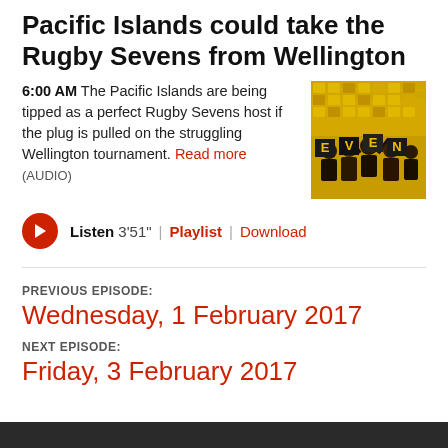Pacific Islands could take the Rugby Sevens from Wellington
6:00 AM The Pacific Islands are being tipped as a perfect Rugby Sevens host if the plug is pulled on the struggling Wellington tournament. Read more (AUDIO)
[Figure (photo): Photo of stadium crowd holding yellow signs spelling SEVENS, crowd seated in yellow chairs]
Listen 3'51" | Playlist | Download
PREVIOUS EPISODE:
Wednesday, 1 February 2017
NEXT EPISODE:
Friday, 3 February 2017